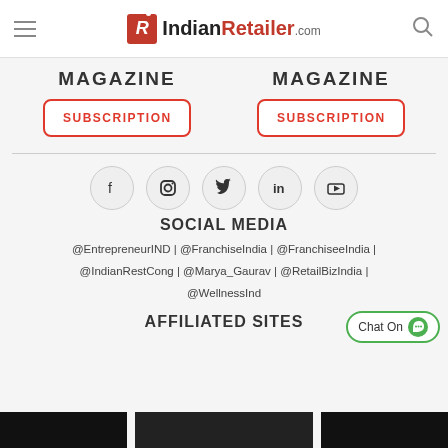IndianRetailer.com
MAGAZINE    SUBSCRIPTION
MAGAZINE    SUBSCRIPTION
[Figure (infographic): Five social media icon circles: Facebook (f), Instagram (camera), Twitter (bird), LinkedIn (in), YouTube (play)]
SOCIAL MEDIA
@EntrepreneurIND | @FranchiseIndia | @FranchiseeIndia | @IndianRestCong | @Marya_Gaurav | @RetailBizIndia | @WellnessInd
AFFILIATED SITES
[Figure (screenshot): Three dark thumbnail images at the bottom of the page]
Chat On